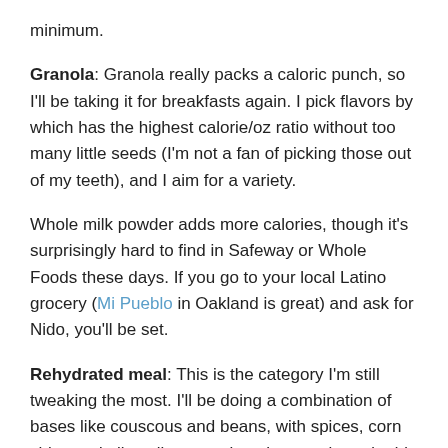minimum.
Granola: Granola really packs a caloric punch, so I'll be taking it for breakfasts again. I pick flavors by which has the highest calorie/oz ratio without too many little seeds (I'm not a fan of picking those out of my teeth), and I aim for a variety.
Whole milk powder adds more calories, though it's surprisingly hard to find in Safeway or Whole Foods these days. If you go to your local Latino grocery (Mi Pueblo in Oakland is great) and ask for Nido, you'll be set.
Rehydrated meal: This is the category I'm still tweaking the most. I'll be doing a combination of bases like couscous and beans, with spices, corn chips and olive oil to complete the protein and add fat.
Fantastic Foods has a line of dehydrated beans that rehydrate in hot or cold water; I've got 8 types at home that I'm working through. So far the Refried Beans flavor is quite tasty. When I ate a lot of beans on the trail in 2012, I had frequent gas — I'm hoping a